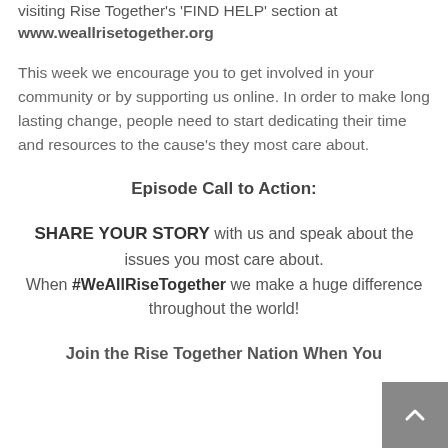visiting Rise Together's 'FIND HELP' section at www.weallrisetogether.org
This week we encourage you to get involved in your community or by supporting us online. In order to make long lasting change, people need to start dedicating their time and resources to the cause's they most care about.
Episode Call to Action:
SHARE YOUR STORY with us and speak about the issues you most care about. When #WeAllRiseTogether we make a huge difference throughout the world!
Join the Rise Together Nation When You